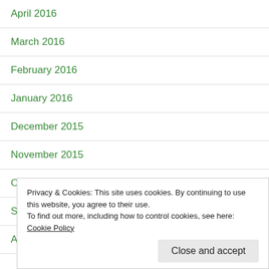April 2016
March 2016
February 2016
January 2016
December 2015
November 2015
October 2015
September 2015
August 2015
Privacy & Cookies: This site uses cookies. By continuing to use this website, you agree to their use.
To find out more, including how to control cookies, see here: Cookie Policy
Close and accept